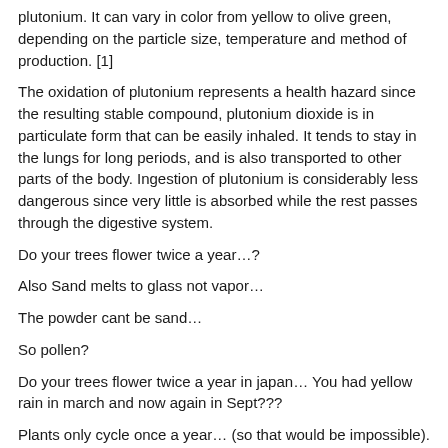plutonium. It can vary in color from yellow to olive green, depending on the particle size, temperature and method of production. [1]
The oxidation of plutonium represents a health hazard since the resulting stable compound, plutonium dioxide is in particulate form that can be easily inhaled. It tends to stay in the lungs for long periods, and is also transported to other parts of the body. Ingestion of plutonium is considerably less dangerous since very little is absorbed while the rest passes through the digestive system.
Do your trees flower twice a year…?
Also Sand melts to glass not vapor…
The powder cant be sand…
So pollen?
Do your trees flower twice a year in japan… You had yellow rain in march and now again in Sept???
Plants only cycle once a year… (so that would be impossible).
Only once…